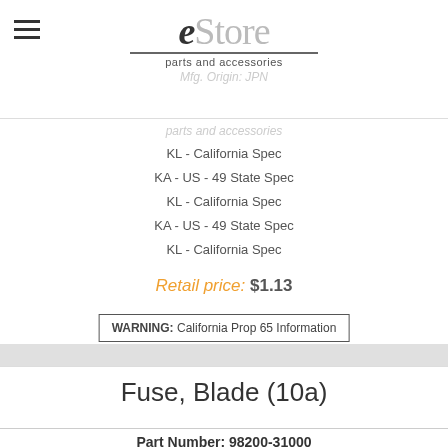[Figure (logo): eStore parts and accessories logo with hamburger menu icon]
KL - California Spec
KA - US - 49 State Spec
KL - California Spec
KA - US - 49 State Spec
KL - California Spec
Retail price: $1.13
WARNING: California Prop 65 Information
Fuse, Blade (10a)
Part Number: 98200-31000
Mfg. Origin: JPN
Emission Types: